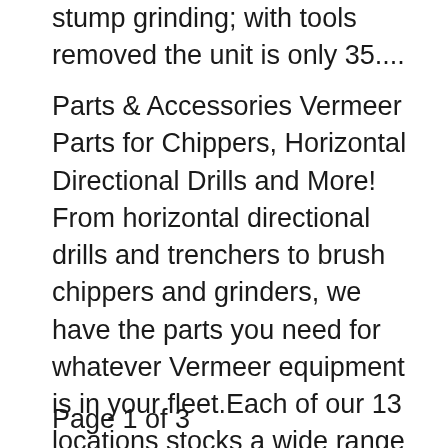stump grinding; with tools removed the unit is only 35....
Parts & Accessories Vermeer Parts for Chippers, Horizontal Directional Drills and More! From horizontal directional drills and trenchers to brush chippers and grinders, we have the parts you need for whatever Vermeer equipment is in your fleet.Each of our 13 locations stocks a wide range of Vermeer genuine parts, and if we don't have the part you need in our inventory, we will get them quickly Browse a wide selection of new and used VERMEER Wheel Stump Grinders Forestry and Logging Equipment For Sale near you at ForestryTrader.com. Top models include SC252, SC362, SC372, SC292, SC352, and SC552.
Page 1 of 3